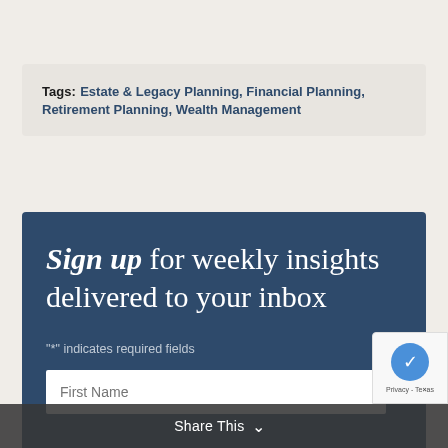Tags: Estate & Legacy Planning, Financial Planning, Retirement Planning, Wealth Management
Sign up for weekly insights delivered to your inbox
"*" indicates required fields
First Name
Share This